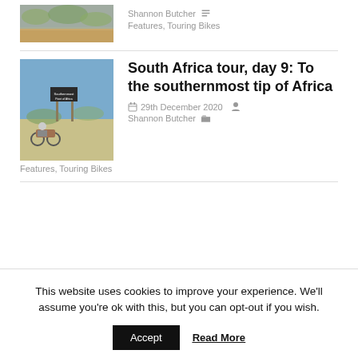[Figure (photo): Top article thumbnail photo of a dry scrubland landscape]
Shannon Butcher  Features, Touring Bikes
[Figure (photo): Motorcyclist at a sign reading Southernmost Point of Africa on a dirt road]
South Africa tour, day 9: To the southernmost tip of Africa
29th December 2020  Shannon Butcher  Features, Touring Bikes
This website uses cookies to improve your experience. We'll assume you're ok with this, but you can opt-out if you wish.
Accept  Read More